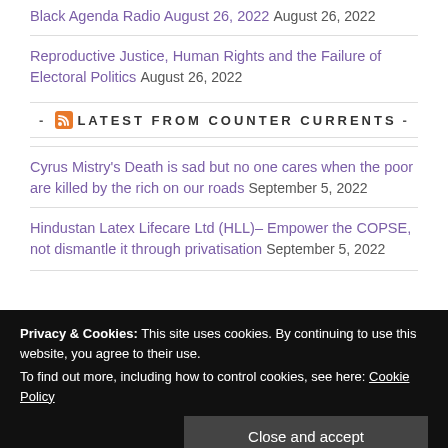Black Agenda Radio August 26, 2022 August 26, 2022
- RSS LATEST FROM COUNTER CURRENTS -
Cyrus Mistry's Death is sad but no one cares when the poor are killed by the rich on our roads September 5, 2022
Hindustan Latex Lifecare Ltd (HLL)– Empower the COPSE, not dismantle it through privatisation September 5, 2022
Privacy & Cookies: This site uses cookies. By continuing to use this website, you agree to their use. To find out more, including how to control cookies, see here: Cookie Policy
Europe September 5, 2022